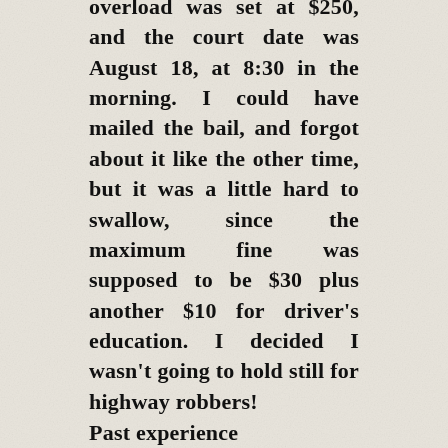overload was set at $250, and the court date was August 18, at 8:30 in the morning. I could have mailed the bail, and forgot about it like the other time, but it was a little hard to swallow, since the maximum fine was supposed to be $30 plus another $10 for driver's education. I decided I wasn't going to hold still for highway robbers!
Past experience